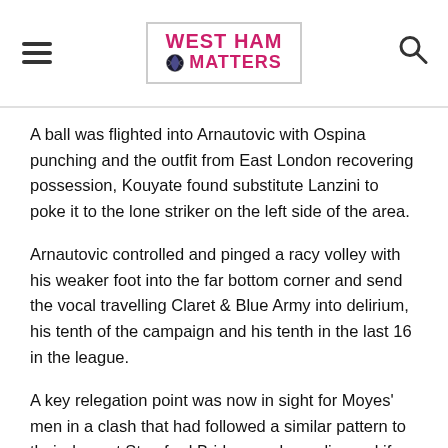WEST HAM MATTERS
A ball was flighted into Arnautovic with Ospina punching and the outfit from East London recovering possession, Kouyate found substitute Lanzini to poke it to the lone striker on the left side of the area.
Arnautovic controlled and pinged a racy volley with his weaker foot into the far bottom corner and send the vocal travelling Claret & Blue Army into delirium, his tenth of the campaign and his tenth in the last 16 in the league.
A key relegation point was now in sight for Moyes' men in a clash that had followed a similar pattern to their draw at Stamford Bridge weeks earlier and if they were to get it, Hart would have a key role to play, much like in West London.